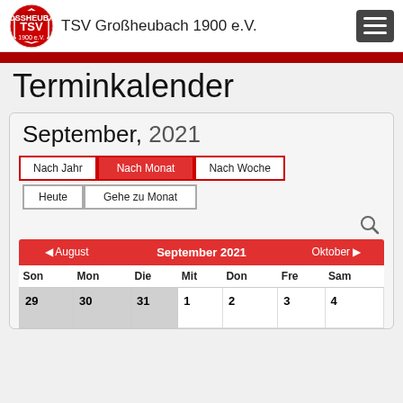TSV Großheubach 1900 e.V.
Terminkalender
September, 2021
Nach Jahr | Nach Monat | Nach Woche | Heute | Gehe zu Monat
| Son | Mon | Die | Mit | Don | Fre | Sam |
| --- | --- | --- | --- | --- | --- | --- |
| 29 | 30 | 31 | 1 | 2 | 3 | 4 |